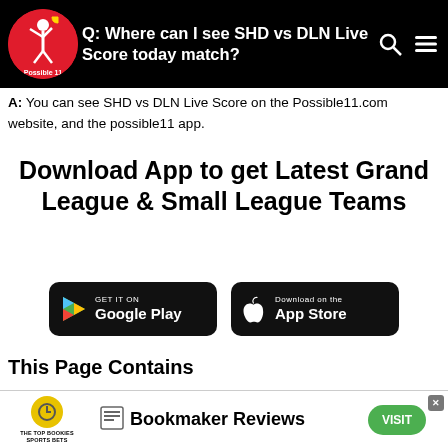Q: Where can I see SHD vs DLN Live Score today match?
A: You can see SHD vs DLN Live Score on the Possible11.com website, and the possible11 app.
Download App to get Latest Grand League & Small League Teams
[Figure (logo): Google Play Store download button badge]
[Figure (logo): Apple App Store download button badge]
This Page Contains
Shandong Luneng Taishan vs Dalian Professional match prediction,
[Figure (infographic): TheTopBookies Bookmaker Reviews advertisement banner with VISIT button]